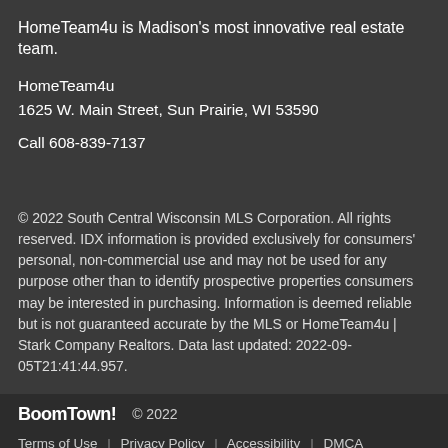HomeTeam4u is Madison's most innovative real estate team.
HomeTeam4u
1625 W. Main Street, Sun Prairie, WI 53590
Call 608-839-7137
© 2022 South Central Wisconsin MLS Corporation. All rights reserved. IDX information is provided exclusively for consumers' personal, non-commercial use and may not be used for any purpose other than to identify prospective properties consumers may be interested in purchasing. Information is deemed reliable but is not guaranteed accurate by the MLS or HomeTeam4u | Stark Company Realtors. Data last updated: 2022-09-05T21:41:44.957.
BoomTown! © 2022
Terms of Use | Privacy Policy | Accessibility | DMCA | Listings Sitemap